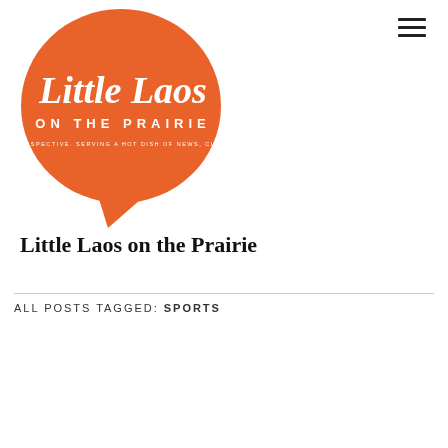[Figure (logo): Orange speech bubble logo with 'Little Laos ON THE PRAIRIE' text and tagline 'THE LAOS PERSPECTIVE. SERVING A HOT DISH OF NEWS, CULTURE & LIFE']
Little Laos on the Prairie
ALL POSTS TAGGED: SPORTS